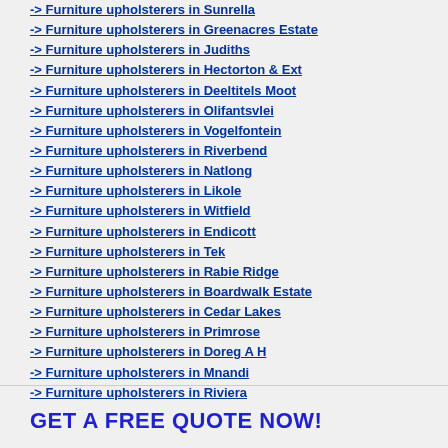-> Furniture upholsterers in Sunrella
-> Furniture upholsterers in Greenacres Estate
-> Furniture upholsterers in Judiths
-> Furniture upholsterers in Hectorton & Ext
-> Furniture upholsterers in Deeltitels Moot
-> Furniture upholsterers in Olifantsvlei
-> Furniture upholsterers in Vogelfontein
-> Furniture upholsterers in Riverbend
-> Furniture upholsterers in Natlong
-> Furniture upholsterers in Likole
-> Furniture upholsterers in Witfield
-> Furniture upholsterers in Endicott
-> Furniture upholsterers in Tek
-> Furniture upholsterers in Rabie Ridge
-> Furniture upholsterers in Boardwalk Estate
-> Furniture upholsterers in Cedar Lakes
-> Furniture upholsterers in Primrose
-> Furniture upholsterers in Doreg A H
-> Furniture upholsterers in Mnandi
-> Furniture upholsterers in Riviera
GET A FREE QUOTE NOW!